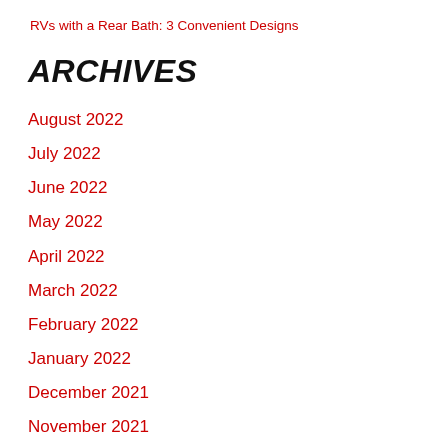RVs with a Rear Bath: 3 Convenient Designs
ARCHIVES
August 2022
July 2022
June 2022
May 2022
April 2022
March 2022
February 2022
January 2022
December 2021
November 2021